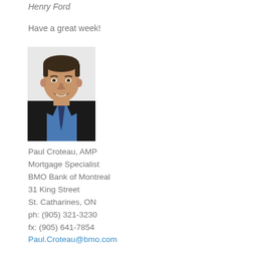Henry Ford
Have a great week!
[Figure (photo): Professional headshot of Paul Croteau, a man in a dark suit and blue shirt, smiling, with short dark hair]
Paul Croteau, AMP
Mortgage Specialist
BMO Bank of Montreal
31 King Street
St. Catharines, ON
ph: (905) 321-3230
fx: (905) 641-7854
Paul.Croteau@bmo.com